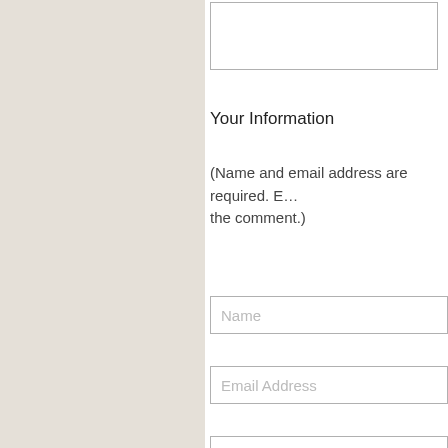Your Information
(Name and email address are required. Email address will not be displayed with the comment.)
Name
Email Address
Web Site URL
Post
Preview